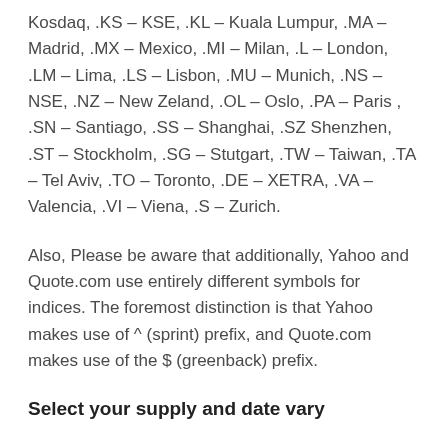Kosdaq, .KS – KSE, .KL – Kuala Lumpur, .MA – Madrid, .MX – Mexico, .MI – Milan, .L – London, .LM – Lima, .LS – Lisbon, .MU – Munich, .NS – NSE, .NZ – New Zeland, .OL – Oslo, .PA – Paris , .SN – Santiago, .SS – Shanghai, .SZ Shenzhen, .ST – Stockholm, .SG – Stutgart, .TW – Taiwan, .TA – Tel Aviv, .TO – Toronto, .DE – XETRA, .VA – Valencia, .VI – Viena, .S – Zurich.
Also, Please be aware that additionally, Yahoo and Quote.com use entirely different symbols for indices. The foremost distinction is that Yahoo makes use of ^ (sprint) prefix, and Quote.com makes use of the $ (greenback) prefix.
Select your supply and date vary